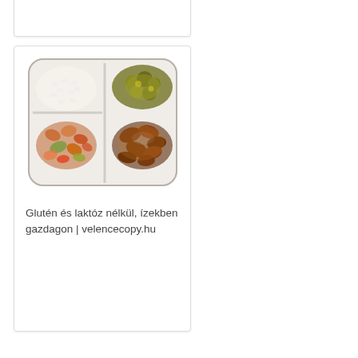[Figure (photo): Top card placeholder — partially visible white card with light border at top of page]
[Figure (photo): A white divided meal tray containing three compartments: rice (top left), green herb/vegetable side dish (top right), mixed vegetable ratatouille (bottom left), and glazed meat pieces (bottom right)]
Glutén és laktóz nélkül, ízekben gazdagon | velencecopy.hu